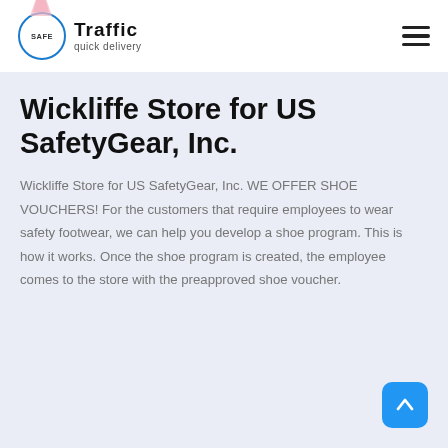Safe Traffic quick delivery
Wickliffe Store for US SafetyGear, Inc.
Wickliffe Store for US SafetyGear, Inc. WE OFFER SHOE VOUCHERS! For the customers that require employees to wear safety footwear, we can help you develop a shoe program. This is how it works. Once the shoe program is created, the employee comes to the store with the preapproved shoe voucher.